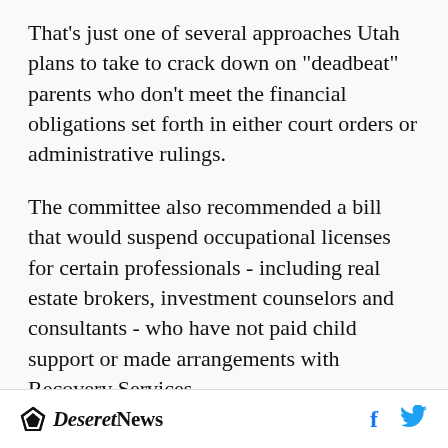That's just one of several approaches Utah plans to take to crack down on "deadbeat" parents who don't meet the financial obligations set forth in either court orders or administrative rulings.
The committee also recommended a bill that would suspend occupational licenses for certain professionals - including real estate brokers, investment counselors and consultants - who have not paid child support or made arrangements with Recovery Services.
"It targets only the professionals who by law can...
Deseret News